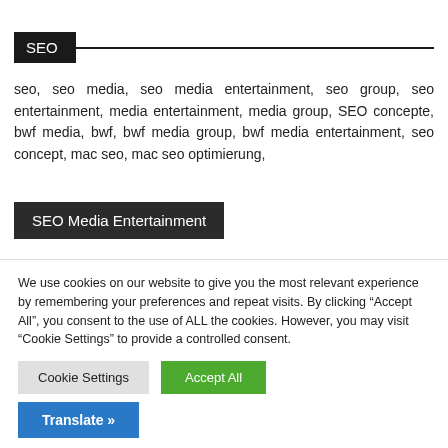SEO
seo, seo media, seo media entertainment, seo group, seo entertainment, media entertainment, media group, SEO concepte, bwf media, bwf, bwf media group, bwf media entertainment, seo concept, mac seo, mac seo optimierung,
SEO Media Entertainment
We use cookies on our website to give you the most relevant experience by remembering your preferences and repeat visits. By clicking “Accept All”, you consent to the use of ALL the cookies. However, you may visit "Cookie Settings" to provide a controlled consent.